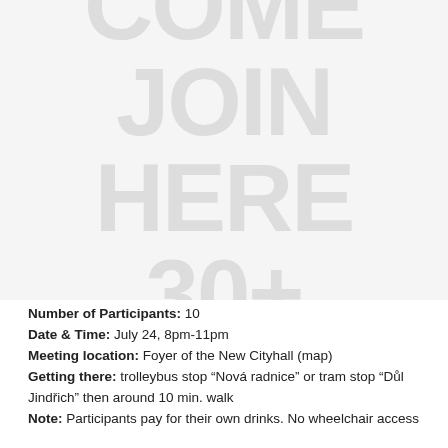[Figure (illustration): Faded watermark-style text reading 'COME JOIN HERE 30+' in large light gray letters on a light gray background, occupying the upper portion of the page.]
Number of Participants: 10
Date & Time: July 24, 8pm-11pm
Meeting location: Foyer of the New Cityhall (map)
Getting there: trolleybus stop “Nová radnice” or tram stop “Důl Jindřich” then around 10 min. walk
Note: Participants pay for their own drinks. No wheelchair access